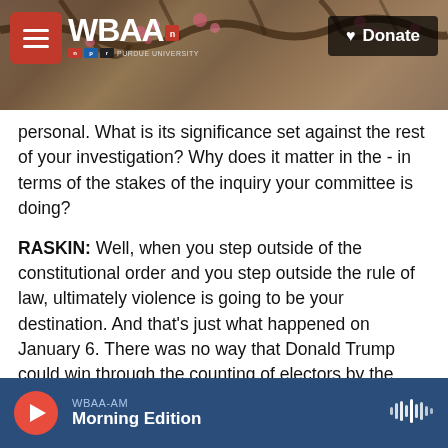WBAA | Donate
personal. What is its significance set against the rest of your investigation? Why does it matter in the - in terms of the stakes of the inquiry your committee is doing?
RASKIN: Well, when you step outside of the constitutional order and you step outside the rule of law, ultimately violence is going to be your destination. And that's just what happened on January 6. There was no way that Donald Trump could win through the counting of electors by the House and the Senate in joint session. It required violence to try to upset the whole apple cart and
WBAA-AM Morning Edition